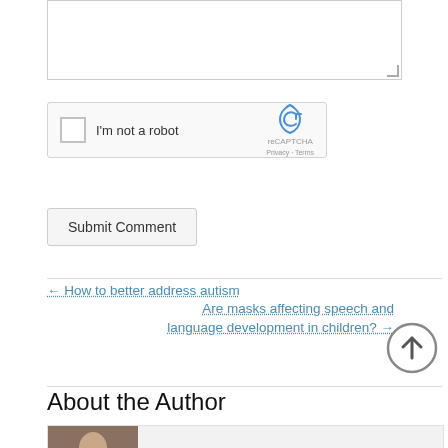[Figure (screenshot): Textarea input field (empty, with resize handle at bottom right)]
[Figure (screenshot): reCAPTCHA widget with checkbox labeled 'I'm not a robot', reCAPTCHA logo, and Privacy/Terms links]
Submit Comment
← How to better address autism
Are masks affecting speech and language development in children? →
About the Author
Jennifer Benson